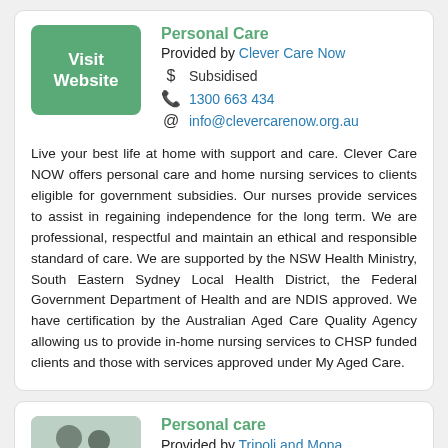Personal Care
Provided by Clever Care Now
$ Subsidised
1300 663 434
info@clevercarenow.org.au
Live your best life at home with support and care. Clever Care NOW offers personal care and home nursing services to clients eligible for government subsidies. Our nurses provide services to assist in regaining independence for the long term. We are professional, respectful and maintain an ethical and responsible standard of care. We are supported by the NSW Health Ministry, South Eastern Sydney Local Health District, the Federal Government Department of Health and are NDIS approved. We have certification by the Australian Aged Care Quality Agency allowing us to provide in-home nursing services to CHSP funded clients and those with services approved under My Aged Care.
Personal care
Provided by Tripoli and Mona